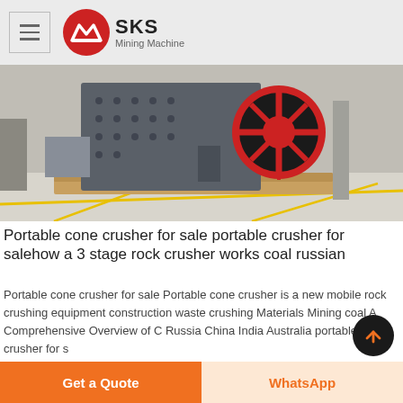SKS Mining Machine
[Figure (photo): Industrial mining crusher machine (impact/cone crusher) with red flywheel, grey body with bolt holes, sitting on wooden pallet in a factory warehouse with yellow floor markings]
Portable cone crusher for sale portable crusher for salehow a 3 stage rock crusher works coal russian
Portable cone crusher for sale Portable cone crusher is a new mobile rock crushing equipment construction waste crushing Materials Mining coal A Comprehensive Overview of C Russia China India Australia portable rock crusher for s
Get a Quote
WhatsApp